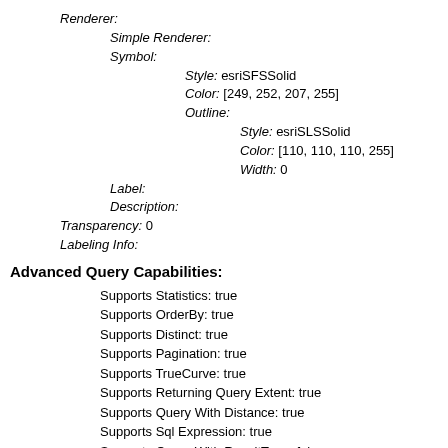Renderer:
Simple Renderer:
Symbol:
Style: esriSFSSolid
Color: [249, 252, 207, 255]
Outline:
Style: esriSLSSolid
Color: [110, 110, 110, 255]
Width: 0
Label:
Description:
Transparency: 0
Labeling Info:
Advanced Query Capabilities:
Supports Statistics: true
Supports OrderBy: true
Supports Distinct: true
Supports Pagination: true
Supports TrueCurve: true
Supports Returning Query Extent: true
Supports Query With Distance: true
Supports Sql Expression: true
Supports Query With ResultType: false
Supports Returning Geometry Centroid: false
Supports Binning LOD: false
Supports Query With LOD Spatial Reference: false